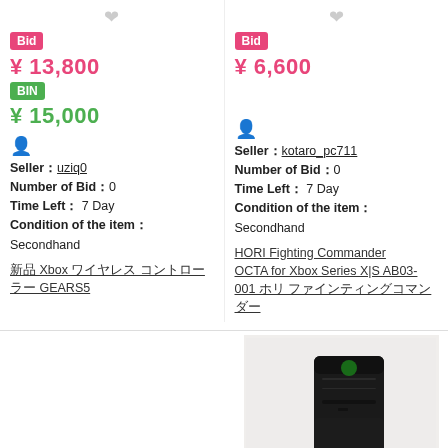Bid ¥ 13,800 BIN ¥ 15,000 Seller：uziq0 Number of Bid：0 Time Left：7 Day Condition of the item：Secondhand 新品 Xbox ワイヤレス コントローラー GEARS5
Bid ¥ 6,600 Seller：kotaro_pc711 Number of Bid：0 Time Left：7 Day Condition of the item：Secondhand HORI Fighting Commander OCTA for Xbox Series X|S AB03-001 ホリ ファインティングコマンダー
[Figure (photo): Xbox Series X gaming console (black tower) with a wireless controller, on a light gray background]